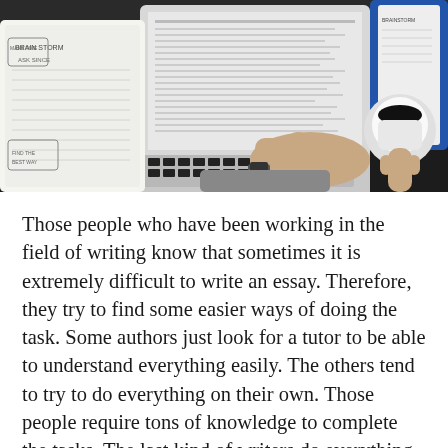[Figure (photo): Overhead view of a person's hand on a laptop keyboard on a dark desk, with papers/notebooks and a coffee cup visible]
Those people who have been working in the field of writing know that sometimes it is extremely difficult to write an essay. Therefore, they try to find some easier ways of doing the task. Some authors just look for a tutor to be able to understand everything easily. The others tend to try to do everything on their own. Those people require tons of knowledge to complete the tasks. The last kind of writers do everything wise, so they just use one of the services that help you with the dissertations, like Pro-Papers dissertation writing